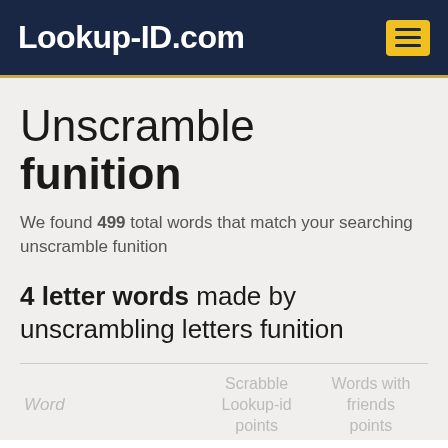Lookup-ID.com
Unscramble funition
We found 499 total words that match your searching unscramble funition
4 letter words made by unscrambling letters funition
| Word | Scrabble Lookup-id points | Words with friends points |
| --- | --- | --- |